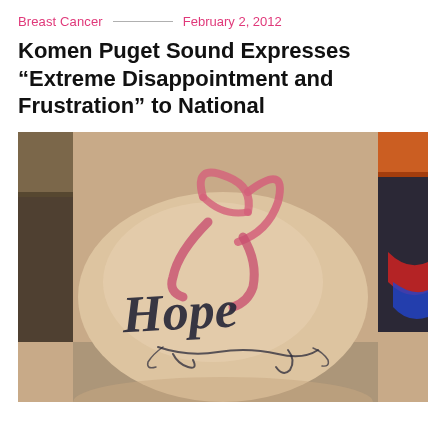Breast Cancer — February 2, 2012
Komen Puget Sound Expresses “Extreme Disappointment and Frustration” to National
[Figure (photo): A close-up photograph of a person's forearm with a tattoo showing a pink breast cancer awareness ribbon and the word 'Hope' written in decorative script lettering with flourishes beneath.]